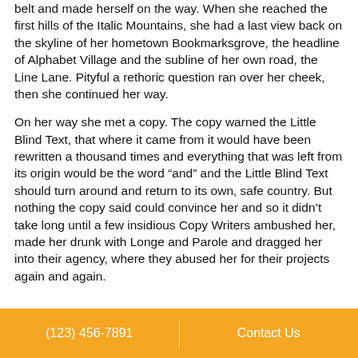belt and made herself on the way. When she reached the first hills of the Italic Mountains, she had a last view back on the skyline of her hometown Bookmarksgrove, the headline of Alphabet Village and the subline of her own road, the Line Lane. Pityful a rethoric question ran over her cheek, then she continued her way.
On her way she met a copy. The copy warned the Little Blind Text, that where it came from it would have been rewritten a thousand times and everything that was left from its origin would be the word “and” and the Little Blind Text should turn around and return to its own, safe country. But nothing the copy said could convince her and so it didn’t take long until a few insidious Copy Writers ambushed her, made her drunk with Longe and Parole and dragged her into their agency, where they abused her for their projects again and again.
(123) 456-7891   |   Contact Us